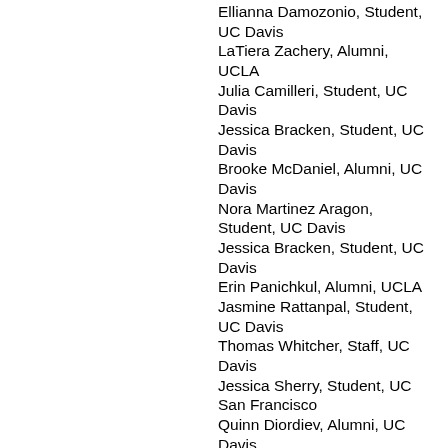Ellianna Damozonio, Student, UC Davis
LaTiera Zachery, Alumni, UCLA
Julia Camilleri, Student, UC Davis
Jessica Bracken, Student, UC Davis
Brooke McDaniel, Alumni, UC Davis
Nora Martinez Aragon, Student, UC Davis
Jessica Bracken, Student, UC Davis
Erin Panichkul, Alumni, UCLA
Jasmine Rattanpal, Student, UC Davis
Thomas Whitcher, Staff, UC Davis
Jessica Sherry, Student, UC San Francisco
Quinn Diordiev, Alumni, UC Davis
Sam Alavi, Staff, UC Davis
Melissa Harris, Staff, UC Davis
Cecelia Garofoli, Student, UC Davis
Sarina Rodriguez, Staff, UC Davis
Sean Malloy, Faculty, UC Merced
Anael Banta, Student, UC Santa Cruz
Jessica Lee, Alumni, UC Berkeley
Tommy Tran, Faculty, UC Merced
Maral Aibyek, Student, UC Davis
Susan Amussen, Faculty, UC Merced
Kit Myers, Faculty, UC Merced
Christina Baker, Faculty, UC Merced
Ma Vang, Faculty, UC Merced
Sholeh Quinn, Faculty, UC Merced
Eleanor Chung, Faculty, UC San Francisco